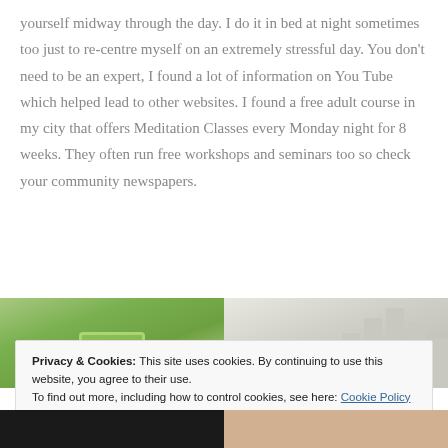yourself midway through the day. I do it in bed at night sometimes too just to re-centre myself on an extremely stressful day. You don't need to be an expert, I found a lot of information on You Tube which helped lead to other websites. I found a free adult course in my city that offers Meditation Classes every Monday night for 8 weeks. They often run free workshops and seminars too so check your community newspapers.
[Figure (photo): Left: photo of a green glowing object on green background. Right: photo of white bars/containers on light background.]
Privacy & Cookies: This site uses cookies. By continuing to use this website, you agree to their use.
To find out more, including how to control cookies, see here: Cookie Policy
Close and accept
[Figure (photo): Bottom row: left photo dark/black tones, right photo showing food/hands in warm tones.]